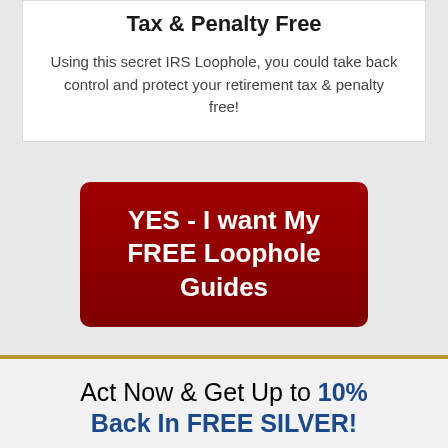Tax & Penalty Free
Using this secret IRS Loophole, you could take back control and protect your retirement tax & penalty free!
YES - I want My FREE Loophole Guides
Act Now & Get Up to 10% Back In FREE SILVER!
When You Open a NEW Gold